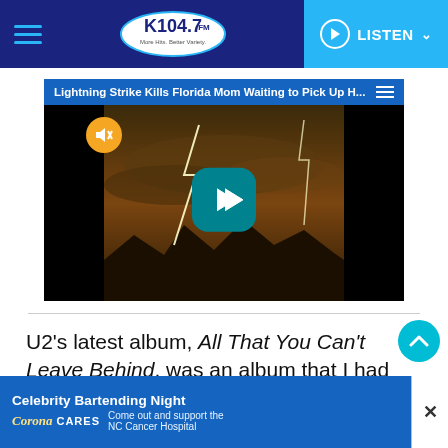K104.7 FM — navigation bar with hamburger menu, logo, and LISTEN button
[Figure (screenshot): Video player showing a lightning storm at dusk over mountains. Title bar reads 'Lightning Strike Kills Florida Mom Waiting to Pick Up H...' A mute icon (orange circle) is in the upper left, and a teal rounded-square play button is centered on the video.]
U2's latest album, All That You Can't Leave Behind, was an album that I had been constantly
[Figure (infographic): Advertisement banner: Celebrity Bartending Night — Corona Cares — Come out and support the NC Cancer Hospital, with a close button (X).]